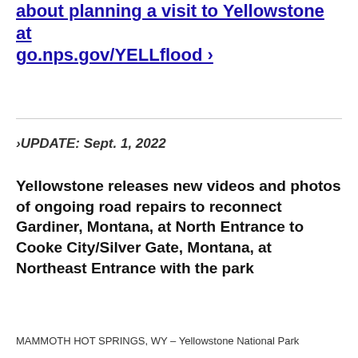about planning a visit to Yellowstone at go.nps.gov/YELLflood ›
›UPDATE: Sept. 1, 2022
Yellowstone releases new videos and photos of ongoing road repairs to reconnect Gardiner, Montana, at North Entrance to Cooke City/Silver Gate, Montana, at Northeast Entrance with the park
MAMMOTH HOT SPRINGS, WY – Yellowstone National Park